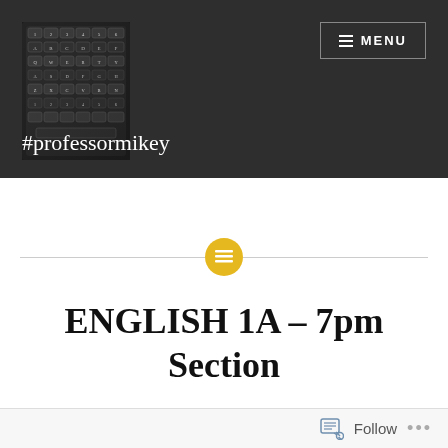[Figure (photo): Close-up photo of a laptop keyboard with dark keys and white letter labels]
#professormikey
[Figure (other): Horizontal divider line with a centered golden circle containing a text/lines icon]
ENGLISH 1A – 7pm Section
Follow ...